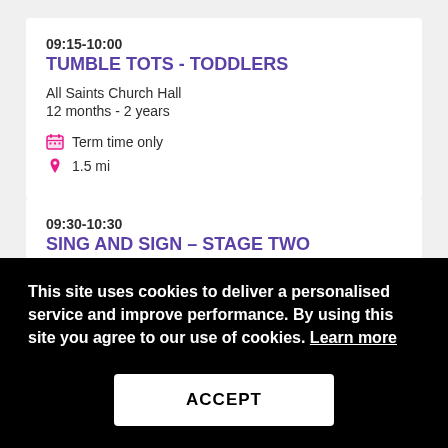09:15-10:00
TUMBLE TOTS - TODDLERS
All Saints Church Hall
12 months - 2 years
Term time only
1.5 mi
09:30-10:30
SING AND SIGN - STAGE TWO
This site uses cookies to deliver a personalised service and improve performance. By using this site you agree to our use of cookies. Learn more
ACCEPT